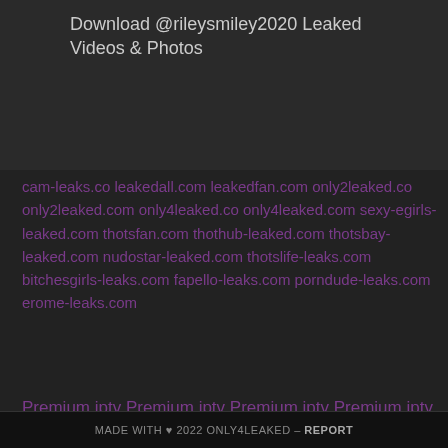Download @rileysmiley2020 Leaked Videos & Photos
cam-leaks.co leakedall.com leakedfan.com only2leaked.co only2leaked.com only4leaked.co only4leaked.com sexy-egirls-leaked.com thotsfan.com thothub-leaked.com thotsbay-leaked.com nudostar-leaked.com thotslife-leaks.com bitchesgirls-leaks.com fapello-leaks.com porndude-leaks.com erome-leaks.com
Premium iptv Premium iptv Premium iptv Premium iptv Premium iptv Premium iptv Premium iptv
MADE WITH ♥ 2022 ONLY4LEAKED - REPORT